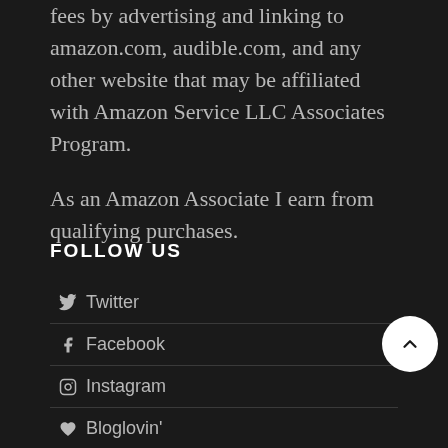fees by advertising and linking to amazon.com, audible.com, and any other website that may be affiliated with Amazon Service LLC Associates Program.
As an Amazon Associate I earn from qualifying purchases.
FOLLOW US
Twitter
Facebook
Instagram
Bloglovin'
Pinterest
Email